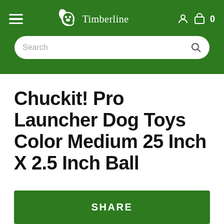Timberline
Chuckit! Pro Launcher Dog Toys Color Medium 25 Inch X 2.5 Inch Ball
SHARE